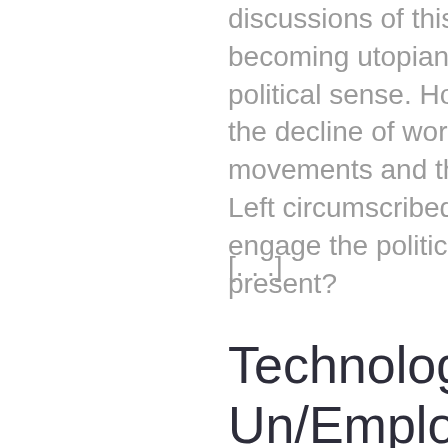discussions of this topic risk becoming utopian in the a-political sense. How, if at all, has the decline of workers movements and the death of the Left circumscribed our ability to engage the politics of work in the present?
[. . .]
Technology, Un/Employment, and the Left: From Future Sho...